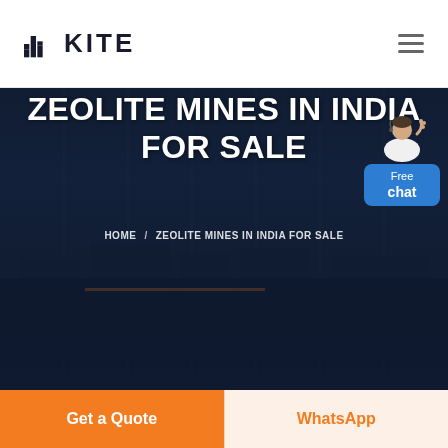KITE
[Figure (screenshot): Hero banner with dark overlay showing industrial/mining facility background. A 'Free chat' widget with a customer service representative illustration appears in the top-right corner.]
ZEOLITE MINES IN INDIA FOR SALE
HOME / ZEOLITE MINES IN INDIA FOR SALE
Get a Quote
WhatsApp